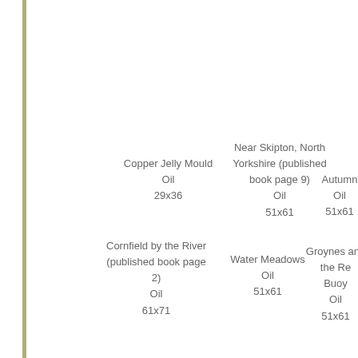Copper Jelly Mould
Oil
29x36
Near Skipton, North Yorkshire (published book page 9)
Oil
51x61
Autumn
Oil
51x61
Cornfield by the River (published book page 2)
Oil
61x71
Water Meadows
Oil
51x61
Groynes and the Re Buoy
Oil
51x61